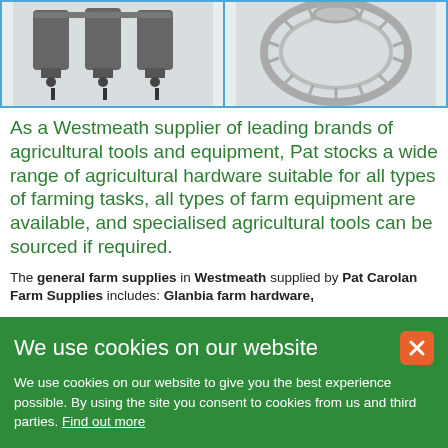[Figure (photo): Two product images side by side: left shows grey plastic poultry drinkers/nipple drinkers; right shows a circular metal hay/feed ring feeder.]
As a Westmeath supplier of leading brands of agricultural tools and equipment, Pat stocks a wide range of agricultural hardware suitable for all types of farming tasks, all types of farm equipment are available, and specialised agricultural tools can be sourced if required.
The general farm supplies in Westmeath supplied by Pat Carolan Farm Supplies includes: Glanbia farm hardware,
We use cookies on our website
We use cookies on our website to give you the best experience possible. By using the site you consent to cookies from us and third parties. Find out more